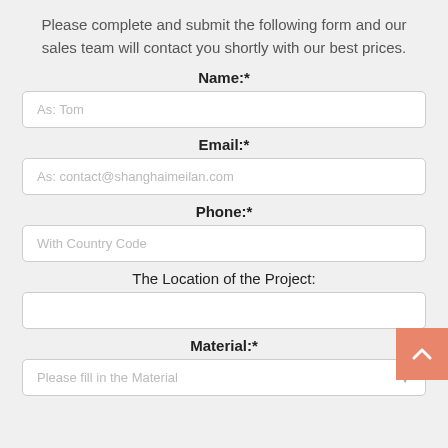Please complete and submit the following form and our sales team will contact you shortly with our best prices.
Name:*
As: Tom
Email:*
As: contact@shanghaimeilan.com
Phone:*
With Country Code
The Location of the Project:
Material:*
Please fill in the Material